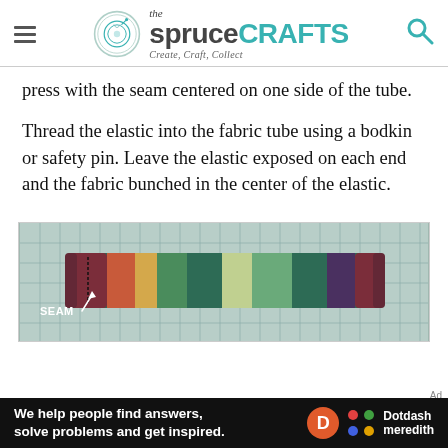the spruce CRAFTS — Create, Craft, Collect
press with the seam centered on one side of the tube.
Thread the elastic into the fabric tube using a bodkin or safety pin. Leave the elastic exposed on each end and the fabric bunched in the center of the elastic.
[Figure (photo): Photo of a colorful striped fabric tube on a gridded mat, with a label 'SEAM' and an arrow pointing to the seam location on the left side of the tube.]
Ad — We help people find answers, solve problems and get inspired. Dotdash meredith